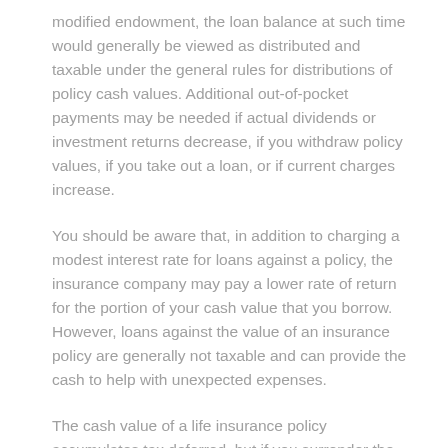modified endowment, the loan balance at such time would generally be viewed as distributed and taxable under the general rules for distributions of policy cash values. Additional out-of-pocket payments may be needed if actual dividends or investment returns decrease, if you withdraw policy values, if you take out a loan, or if current charges increase.
You should be aware that, in addition to charging a modest interest rate for loans against a policy, the insurance company may pay a lower rate of return for the portion of your cash value that you borrow. However, loans against the value of an insurance policy are generally not taxable and can provide the cash to help with unexpected expenses.
The cash value of a life insurance policy accumulates tax deferred, but if you surrender the policy, you'll incur an income tax liability for funds that exceed the premiums you have paid.